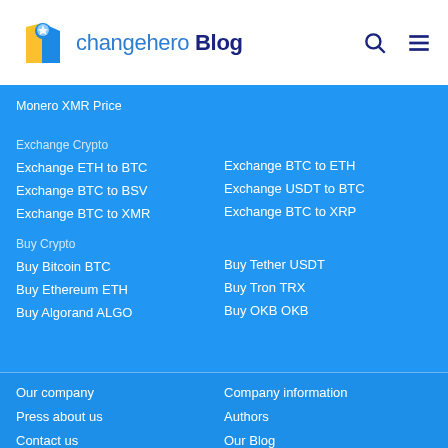changehero Blog
Monero XMR Price
Exchange Crypto
Exchange BTC to ETH
Exchange ETH to BTC
Exchange USDT to BTC
Exchange BTC to BSV
Exchange BTC to XRP
Exchange BTC to XMR
Buy Crypto
Buy Tether USDT
Buy Bitcoin BTC
Buy Tron TRX
Buy Ethereum ETH
Buy OKB OKB
Buy Algorand ALGO
Our company
Company information
Press about us
Authors
Contact us
Our Blog